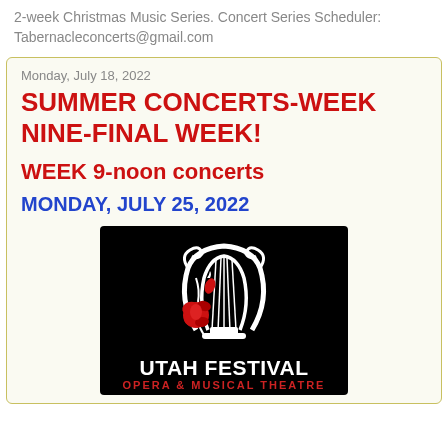2-week Christmas Music Series. Concert Series Scheduler: Tabernacleconcerts@gmail.com
Monday, July 18, 2022
SUMMER CONCERTS-WEEK NINE-FINAL WEEK!
WEEK 9-noon concerts
MONDAY, JULY 25, 2022
[Figure (logo): Utah Festival Opera & Musical Theatre logo: white lyre with a red rose on black background, text 'UTAH FESTIVAL' in white bold and 'OPERA & MUSICAL THEATRE' in red below.]